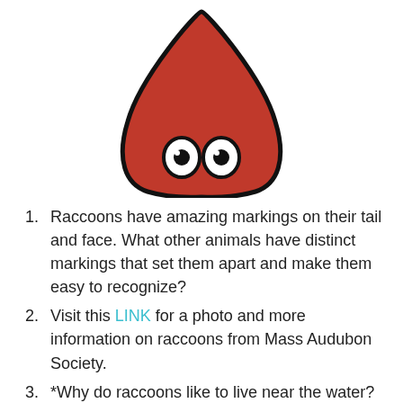[Figure (illustration): A cartoon red teardrop/cone-shaped creature with two round white eyes with black pupils, outlined in black, facing forward. The shape is like a red cone with a rounded bottom.]
Raccoons have amazing markings on their tail and face. What other animals have distinct markings that set them apart and make them easy to recognize?
Visit this LINK for a photo and more information on raccoons from Mass Audubon Society.
*Why do raccoons like to live near the water? Of what use is their large bushy tail? How do raccoons arrange themselves in a tree for a nap? At what time of year are raccoons the fattest? Do they